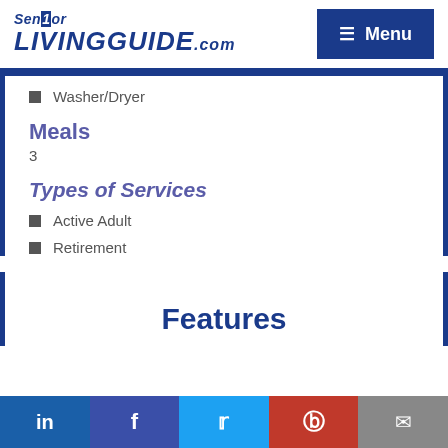SeniorLIVINGGUIDE.com — Menu
Washer/Dryer
Meals
3
Types of Services
Active Adult
Retirement
Features
in f Twitter Pinterest Mail